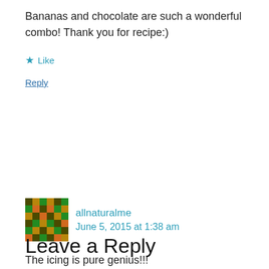Bananas and chocolate are such a wonderful combo! Thank you for recipe:)
★ Like
Reply
[Figure (illustration): Avaticon/identicon for user allnaturalme — a green and yellow pixelated geometric pattern]
allnaturalme
June 5, 2015 at 1:38 am
The icing is pure genius!!!
★ Like
Reply
Leave a Reply